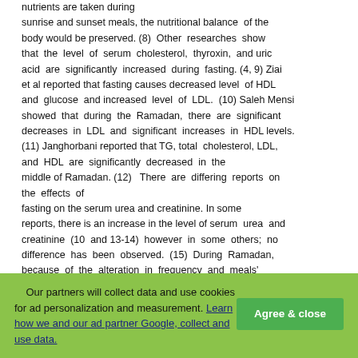nutrients are taken during sunrise and sunset meals, the nutritional balance of the body would be preserved. (8) Other researches show that the level of serum cholesterol, thyroxin, and uric acid are significantly increased during fasting. (4, 9) Ziai et al reported that fasting causes decreased level of HDL and glucose and increased level of LDL. (10) Saleh Mensi showed that during the Ramadan, there are significant decreases in LDL and significant increases in HDL levels. (11) Janghorbani reported that TG, total cholesterol, LDL, and HDL are significantly decreased in the middle of Ramadan. (12) There are differing reports on the effects of fasting on the serum urea and creatinine. In some reports, there is an increase in the level of serum urea and creatinine (10 and 13-14) however in some others; no difference has been observed. (15) During Ramadan, because of the alteration in frequency and meals' schedule, some changes in the dietary pattern of Muslims had been observed. In a study by Amena Sadiya, the
Our partners will collect data and use cookies for ad personalization and measurement. Learn how we and our ad partner Google, collect and use data. Agree & close